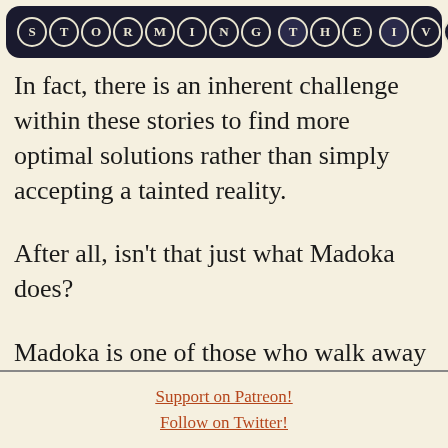STORMING THE IVORY TOWER
In fact, there is an inherent challenge within these stories to find more optimal solutions rather than simply accepting a tainted reality.
After all, isn't that just what Madoka does?
Madoka is one of those who walk away from Omelas. And her choice
Support on Patreon!
Follow on Twitter!